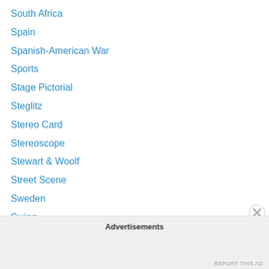South Africa
Spain
Spanish-American War
Sports
Stage Pictorial
Steglitz
Stereo Card
Stereoscope
Stewart & Woolf
Street Scene
Sweden
Swing
Switzerland
Synagogue
T.I.C. (Thomas Illingworth & Co.)
Tea Party
Advertisements
REPORT THIS AD